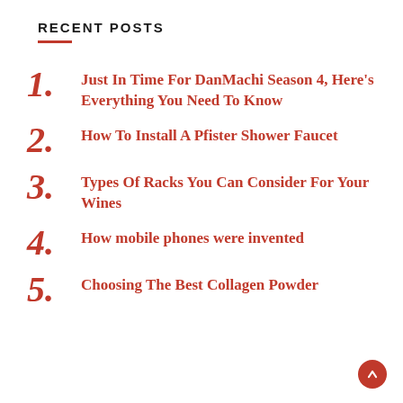RECENT POSTS
Just In Time For DanMachi Season 4, Here's Everything You Need To Know
How To Install A Pfister Shower Faucet
Types Of Racks You Can Consider For Your Wines
How mobile phones were invented
Choosing The Best Collagen Powder